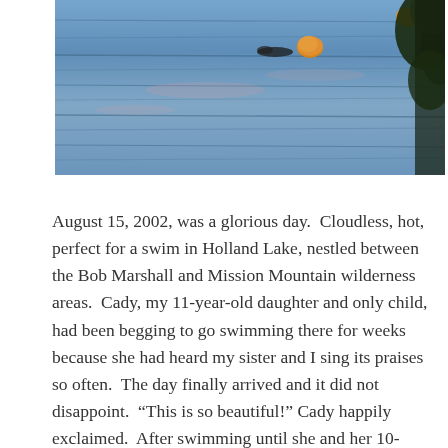[Figure (photo): A photograph of a lake with blue rippling water, orange buoys floating on the surface, and dark tree foliage visible at the upper right corner.]
August 15, 2002, was a glorious day. Cloudless, hot, perfect for a swim in Holland Lake, nestled between the Bob Marshall and Mission Mountain wilderness areas. Cady, my 11-year-old daughter and only child, had been begging to go swimming there for weeks because she had heard my sister and I sing its praises so often. The day finally arrived and it did not disappoint. “This is so beautiful!” Cady happily exclaimed. After swimming until she and her 10-year-old cousin Jamie were exhausted, Cady dined on her favorite, a peanut butter and jelly sandwich and Sprite. Then about 3:30 a consensus was reached. “Let’s go!” Cady said, knowing the drive was long and winding back to